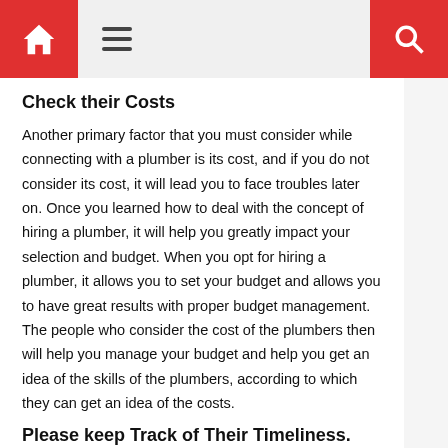Home | Menu | Search
Check their Costs
Another primary factor that you must consider while connecting with a plumber is its cost, and if you do not consider its cost, it will lead you to face troubles later on. Once you learned how to deal with the concept of hiring a plumber, it will help you greatly impact your selection and budget. When you opt for hiring a plumber, it allows you to set your budget and allows you to have great results with proper budget management. The people who consider the cost of the plumbers then will help you manage your budget and help you get an idea of the skills of the plumbers, according to which they can get an idea of the costs.
Please keep Track of Their Timeliness.
When people opt for hiring a plumber, they must pay attention to some major factors that can help them select the best plumber to promise a better timeliness experience. For the people who connect with a